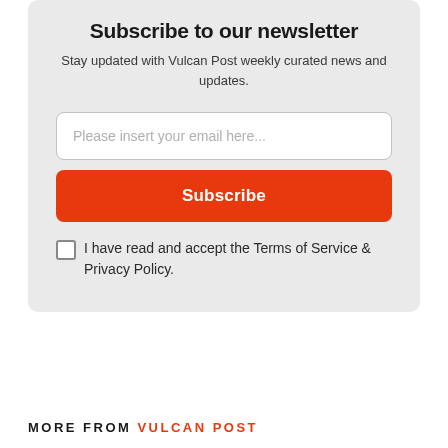Subscribe to our newsletter
Stay updated with Vulcan Post weekly curated news and updates.
Please insert your email here...
Subscribe
I have read and accept the Terms of Service & Privacy Policy.
MORE FROM VULCAN POST